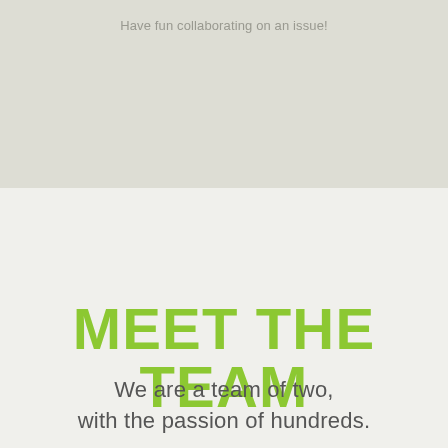Have fun collaborating on an issue!
MEET THE TEAM
We are a team of two, with the passion of hundreds.